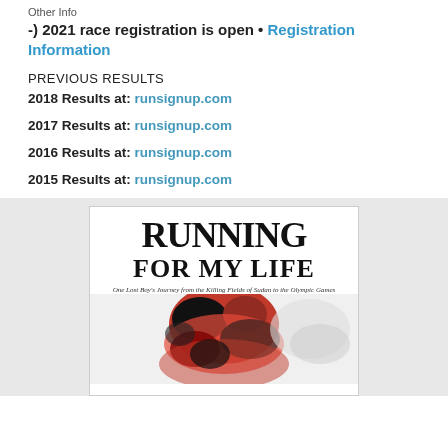Other Info
-) 2021 race registration is open • Registration Information
PREVIOUS RESULTS
2018 Results at: runsignup.com
2017 Results at: runsignup.com
2016 Results at: runsignup.com
2015 Results at: runsignup.com
[Figure (illustration): Book cover for 'Running For My Life: One Lost Boy's Journey from the Killing Fields of Sudan to the Olympic Games' showing large bold serif title text and a figure in red below]